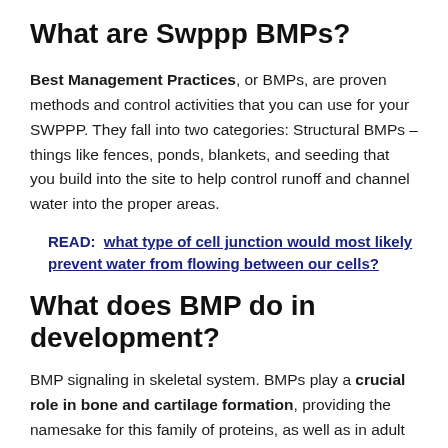What are Swppp BMPs?
Best Management Practices, or BMPs, are proven methods and control activities that you can use for your SWPPP. They fall into two categories: Structural BMPs – things like fences, ponds, blankets, and seeding that you build into the site to help control runoff and channel water into the proper areas.
READ:  what type of cell junction would most likely prevent water from flowing between our cells?
What does BMP do in development?
BMP signaling in skeletal system. BMPs play a crucial role in bone and cartilage formation, providing the namesake for this family of proteins, as well as in adult homeostasis...